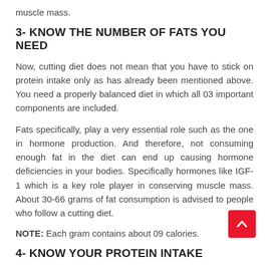muscle mass.
3- KNOW THE NUMBER OF FATS YOU NEED
Now, cutting diet does not mean that you have to stick on protein intake only as has already been mentioned above. You need a properly balanced diet in which all 03 important components are included.
Fats specifically, play a very essential role such as the one in hormone production. And therefore, not consuming enough fat in the diet can end up causing hormone deficiencies in your bodies. Specifically hormones like IGF-1 which is a key role player in conserving muscle mass. About 30-66 grams of fat consumption is advised to people who follow a cutting diet.
NOTE: Each gram contains about 09 calories.
4- KNOW YOUR PROTEIN INTAKE